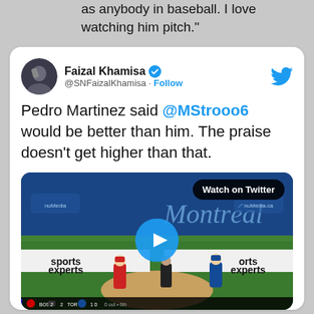as anybody in baseball. I love watching him pitch."
[Figure (screenshot): Embedded tweet from @SNFaizalKhamisa (Faizal Khamisa, verified) with text: 'Pedro Martinez said @MStrooo6 would be better than him. The praise doesn't get higher than that.' with an embedded video thumbnail of a baseball game showing players on a field, a play button overlay, a 'Watch on Twitter' pill, and a scorebug showing BOS 2 TOR with inning info.]